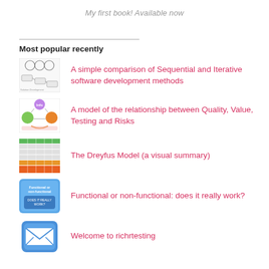My first book! Available now
Most popular recently
A simple comparison of Sequential and Iterative software development methods
A model of the relationship between Quality, Value, Testing and Risks
The Dreyfus Model (a visual summary)
Functional or non-functional: does it really work?
Welcome to richrtesting